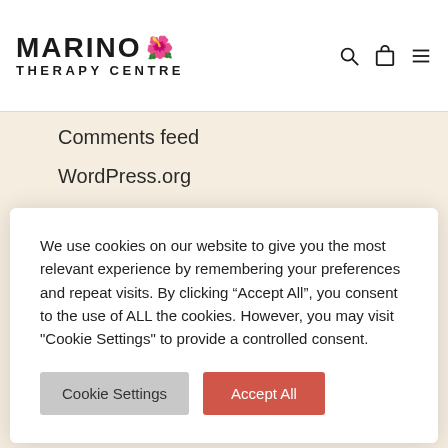MARINO THERAPY CENTRE
Comments feed
WordPress.org
We use cookies on our website to give you the most relevant experience by remembering your preferences and repeat visits. By clicking “Accept All”, you consent to the use of ALL the cookies. However, you may visit "Cookie Settings" to provide a controlled consent.
THERAPY CENTRE
EXPLORE